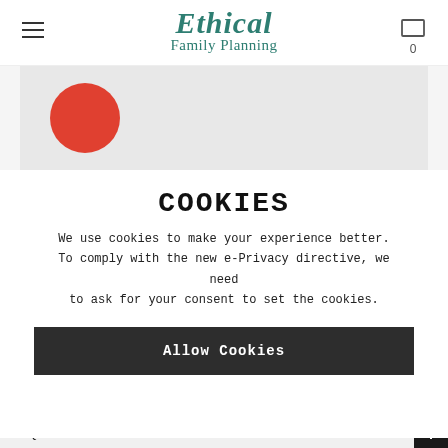Ethical Family Planning
[Figure (screenshot): Partial product image showing a red circle on a light gray background]
COOKIES
We use cookies to make your experience better. To comply with the new e-Privacy directive, we need to ask for your consent to set the cookies.
Allow Cookies
FAQs